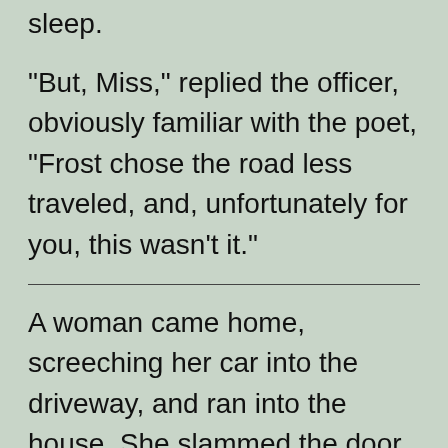sleep.
"But, Miss," replied the officer, obviously familiar with the poet, "Frost chose the road less traveled, and, unfortunately for you, this wasn't it."
A woman came home, screeching her car into the driveway, and ran into the house. She slammed the door and shouted at the top of her lungs,
"Honey, pack your bags. I won the lottery!"
The husband said, "Oh my God! What should I